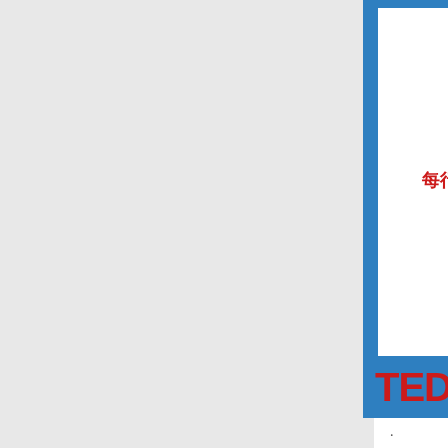[Figure (screenshot): TED Translators guidelines screenshot showing Chinese text labels for subtitle translation settings including: 每屏字幕, 字幕开始, 分行, 每行句子长度的平衡, 字幕结构, 分句, 声音表达, 视频字幕, with a blue TED Translations banner at the bottom.]